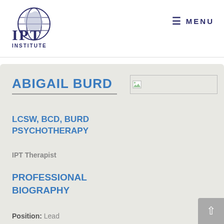[Figure (logo): IPT Institute logo with globe graphic and dark navy text reading IPT INSTITUTE]
≡ MENU
ABIGAIL BURD
[Figure (photo): Broken/placeholder image box]
LCSW, BCD, BURD PSYCHOTHERAPY
IPT Therapist
PROFESSIONAL BIOGRAPHY
Position: Lead